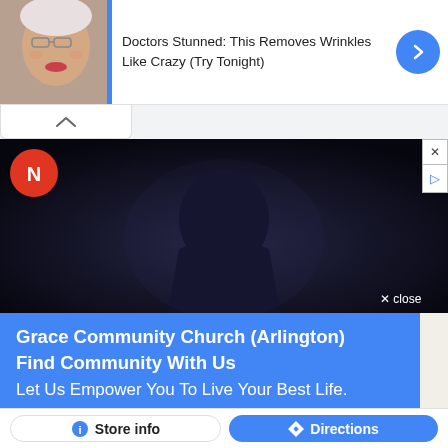[Figure (screenshot): Top advertisement banner showing an elderly woman's face with text 'Doctors Stunned: This Removes Wrinkles Like Crazy (Try Tonight)' and a blue circular arrow button]
[Figure (screenshot): Video player area with dark background showing a person silhouette, BuzzFeed logo (red circle with white N), and an 'X close' button at bottom right]
[Figure (screenshot): Blue advertisement banner for Grace Community Church (Arlington) with text: 'Grace Community Church (Arlington)', 'Find Community With Us', 'Let Us Empower You To Live Your Best Life.']
[Figure (map): Google Maps screenshot showing Arlington area with BUCKINGHAM label, Goodwill of Greater Washington Retail Store marker, ARLINGTON label, and a red location pin]
[Figure (screenshot): Bottom button bar with 'Store info' button (white with info icon) and 'Directions' button (blue with diamond arrow icon)]